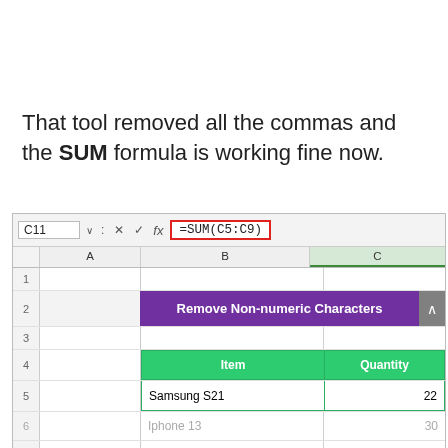That tool removed all the commas and the SUM formula is working fine now.
[Figure (screenshot): Excel spreadsheet screenshot showing formula bar with =SUM(C5:C9), column headers A, B, C, and rows: row 1 empty, row 2 purple banner 'Remove Non-numeric Characters', row 3 empty, row 4 green header row with 'Item' and 'Quantity', row 5 'Samsung S21' with value 22, row 6 'Iphone 13' with value 30 (greyed), row 7 'Xiaomi 11T' with value 25 (greyed)]